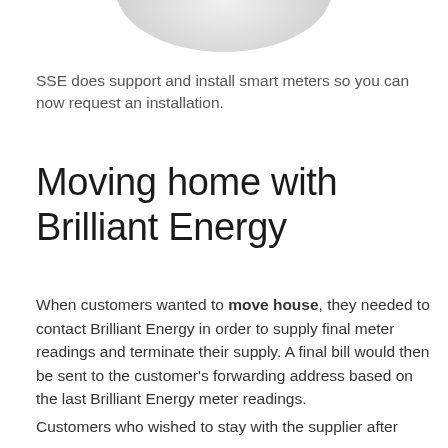[Figure (illustration): Partial view of a circular white/light gray dome or lamp shape at top of page]
SSE does support and install smart meters so you can now request an installation.
Moving home with Brilliant Energy
When customers wanted to move house, they needed to contact Brilliant Energy in order to supply final meter readings and terminate their supply. A final bill would then be sent to the customer's forwarding address based on the last Brilliant Energy meter readings.
Customers who wished to stay with the supplier after